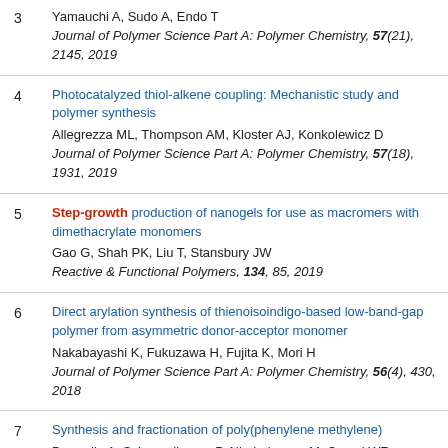3 Yamauchi A, Sudo A, Endo T Journal of Polymer Science Part A: Polymer Chemistry, 57(21), 2145, 2019
4 Photocatalyzed thiol-alkene coupling: Mechanistic study and polymer synthesis Allegrezza ML, Thompson AM, Kloster AJ, Konkolewicz D Journal of Polymer Science Part A: Polymer Chemistry, 57(18), 1931, 2019
5 Step-growth production of nanogels for use as macromers with dimethacrylate monomers Gao G, Shah PK, Liu T, Stansbury JW Reactive & Functional Polymers, 134, 85, 2019
6 Direct arylation synthesis of thienoisoindigo-based low-band-gap polymer from asymmetric donor-acceptor monomer Nakabayashi K, Fukuzawa H, Fujita K, Mori H Journal of Polymer Science Part A: Polymer Chemistry, 56(4), 430, 2018
7 Synthesis and fractionation of poly(phenylene methylene) Braendle A, Schwendimann P, Niederberger M, Caseri WR Journal of Polymer Science Part A: Polymer Chemistry, 56(3), 309, 2018